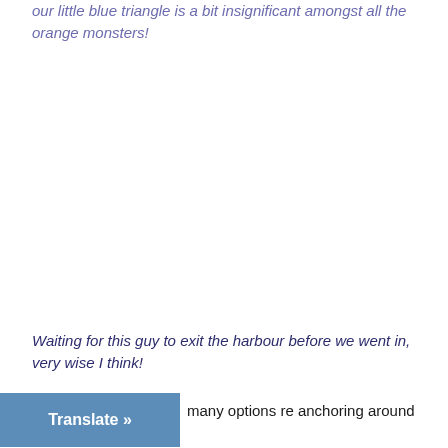our little blue triangle is a bit insignificant amongst all the orange monsters!
Waiting for this guy to exit the harbour before we went in, very wise I think!
many options re anchoring around here –
[Figure (photo): Blank white space representing an image area in the middle of the page]